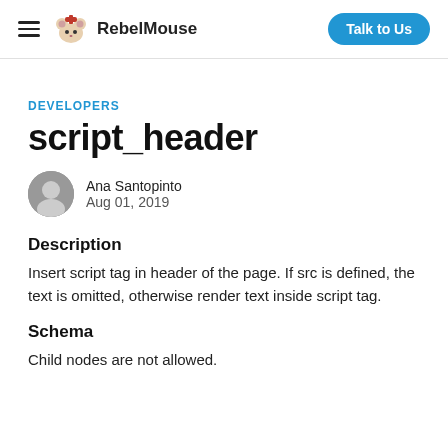RebelMouse | Talk to Us
DEVELOPERS
script_header
Ana Santopinto
Aug 01, 2019
Description
Insert script tag in header of the page. If src is defined, the text is omitted, otherwise render text inside script tag.
Schema
Child nodes are not allowed.